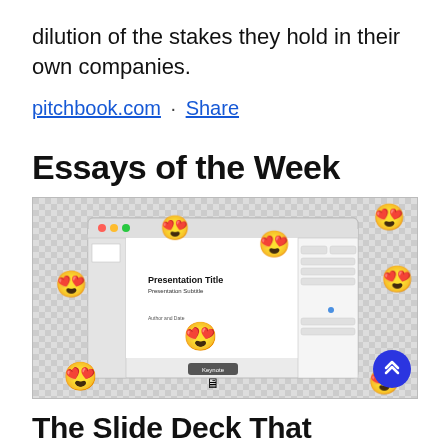dilution of the stakes they hold in their own companies.
pitchbook.com · Share
Essays of the Week
[Figure (screenshot): Screenshot of Keynote presentation software on macOS with heart-eyes emoji floating around it, showing a slide with 'Presentation Title', 'Presentation Subtitle', and 'Author and Date']
The Slide Deck That Changed My